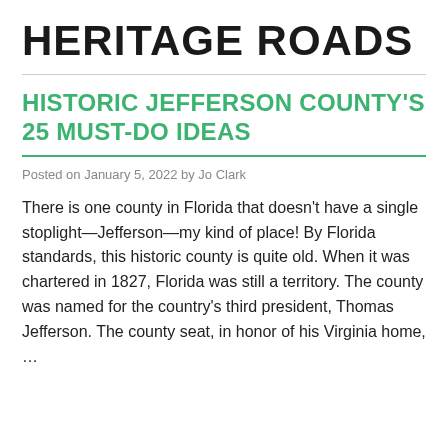HERITAGE ROADS
HISTORIC JEFFERSON COUNTY'S 25 MUST-DO IDEAS
Posted on January 5, 2022 by Jo Clark
There is one county in Florida that doesn't have a single stoplight—Jefferson—my kind of place! By Florida standards, this historic county is quite old. When it was chartered in 1827, Florida was still a territory. The county was named for the country's third president, Thomas Jefferson. The county seat, in honor of his Virginia home, …